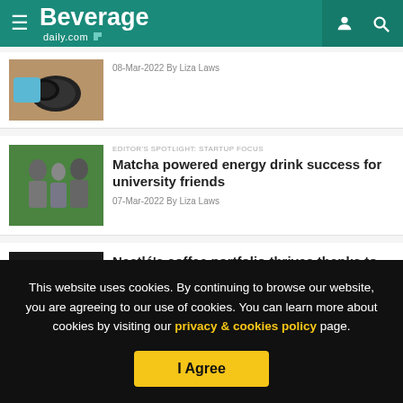Beverage daily.com
08-Mar-2022 By Liza Laws
EDITOR'S SPOTLIGHT: STARTUP FOCUS
Matcha powered energy drink success for university friends
07-Mar-2022 By Liza Laws
Nestlé's coffee portfolio thrives thanks to the 'at-home revolution'
This website uses cookies. By continuing to browse our website, you are agreeing to our use of cookies. You can learn more about cookies by visiting our privacy & cookies policy page.
I Agree